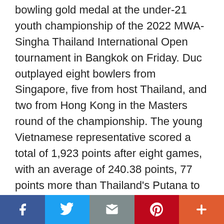bowling gold medal at the under-21 youth championship of the 2022 MWA-Singha Thailand International Open tournament in Bangkok on Friday. Duc outplayed eight bowlers from Singapore, five from host Thailand, and two from Hong Kong in the Masters round of the championship. The young Vietnamese representative scored a total of 1,923 points after eight games, with an average of 240.38 points, 77 points more than Thailand's Putana to win the gold medal - which is the first-of-its-kind international achievement for Vietnamese bowling. Duc is considered an outstanding young talent of Vietnamese bowling, having participated in the 31st